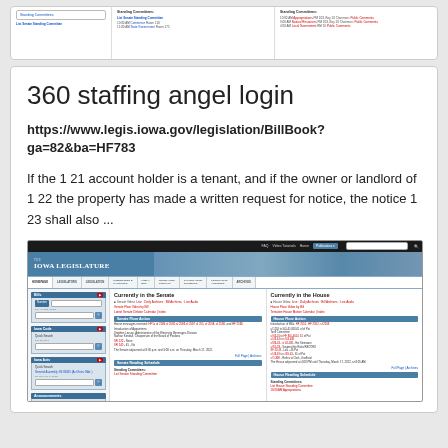[Figure (screenshot): Partial screenshot of what appears to be a legislative website showing Standing Committees, List Senate Standing Committee, and related government links with red hyperlinks and times/room numbers.]
360 staffing angel login
https://www.legis.iowa.gov/legislation/BillBook?ga=82&ba=HF783
If the 1 21 account holder is a tenant, and if the owner or landlord of 1 22 the property has made a written request for notice, the notice 1 23 shall also ...
[Figure (screenshot): Screenshot of the Iowa Legislature website (legis.iowa.gov) showing the homepage with navigation bar, Bills search, Iowa Code search, Iowa Acts search, Announcements sections on the left, and Currently in the Senate and Currently in the House sections in the main content area displaying floor actions, reading schedules, and standing committees.]